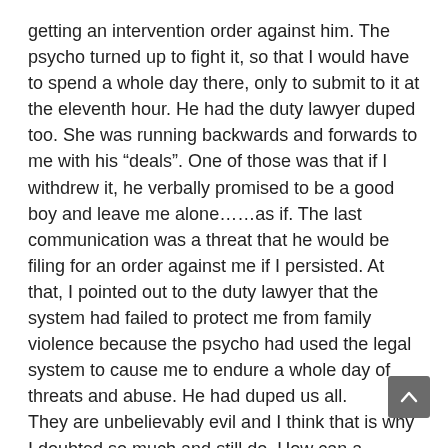getting an intervention order against him. The psycho turned up to fight it, so that I would have to spend a whole day there, only to submit to it at the eleventh hour. He had the duty lawyer duped too. She was running backwards and forwards to me with his “deals”. One of those was that if I withdrew it, he verbally promised to be a good boy and leave me alone……as if. The last communication was a threat that he would be filing for an order against me if I persisted. At that, I pointed out to the duty lawyer that the system had failed to protect me from family violence because the psycho had used the legal system to cause me to endure a whole day of threats and abuse. He had duped us all.
They are unbelievably evil and I think that is why I doubted so much and still do. How can a human being, that lives and breathes like the rest of us, be twisted and evil?